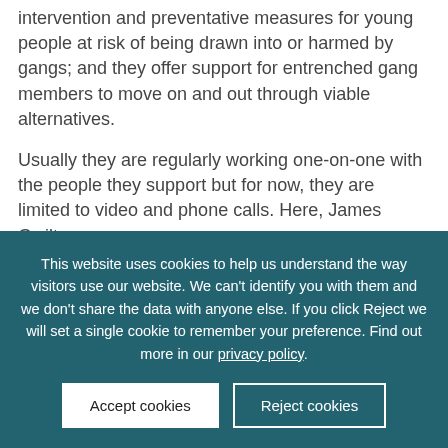intervention and preventative measures for young people at risk of being drawn into or harmed by gangs; and they offer support for entrenched gang members to move on and out through viable alternatives.
Usually they are regularly working one-on-one with the people they support but for now, they are limited to video and phone calls. Here, James Gwilt, a ...
This website uses cookies to help us understand the way visitors use our website. We can't identify you with them and we don't share the data with anyone else. If you click Reject we will set a single cookie to remember your preference. Find out more in our privacy policy.